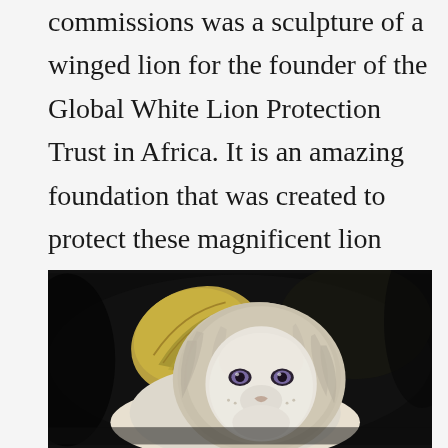commissions was a sculpture of a winged lion for the founder of the Global White Lion Protection Trust in Africa. It is an amazing foundation that was created to protect these magnificent lion beings in Africa. My dream is to be able to visit these beautiful lions one day.
[Figure (photo): A photograph of a white winged lion sculpture against a dark background. The sculpture depicts a white lion with golden wings, resting with its head facing forward, with pale violet eyes and detailed mane and feather textures.]